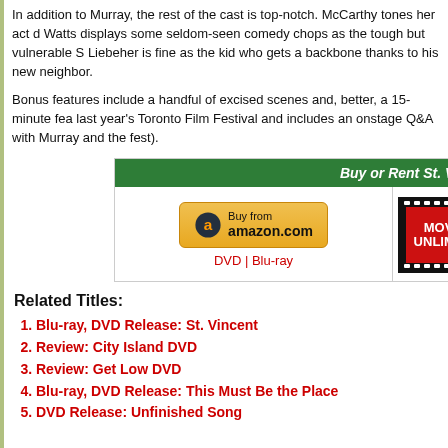In addition to Murray, the rest of the cast is top-notch. McCarthy tones her act d... Watts displays some seldom-seen comedy chops as the tough but vulnerable S... Liebeher is fine as the kid who gets a backbone thanks to his new neighbor.
Bonus features include a handful of excised scenes and, better, a 15-minute fea... last year's Toronto Film Festival and includes an onstage Q&A with Murray and ... the fest).
[Figure (other): Buy or Rent St. Vincent widget with Amazon Buy from amazon.com (DVD | Blu-ray) button and Movies Unlimited logo on green header]
Related Titles:
Blu-ray, DVD Release: St. Vincent
Review: City Island DVD
Review: Get Low DVD
Blu-ray, DVD Release: This Must Be the Place
DVD Release: Unfinished Song